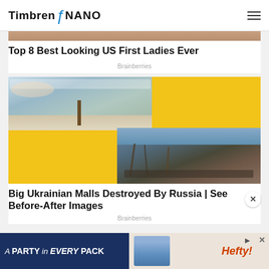Timbren NANO
[Figure (photo): Partial cropped photo at top showing what appears to be a person or figure]
Top 8 Best Looking US First Ladies Ever
Brainberries
[Figure (photo): Composite image on yellow background showing: top-left a shopping mall interior with palm trees, bottom-right a destroyed/burned building structure. Article about Ukrainian Malls Destroyed By Russia.]
Big Ukrainian Malls Destroyed By Russia | See Before-After Images
Brainberries
[Figure (photo): Advertisement banner for Hefty brand: 'A PARTY in EVERY PACK' with Hefty product image and logo]